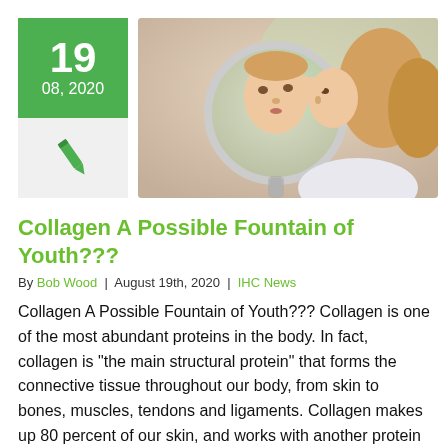[Figure (photo): Woman looking at her skin in a round handheld mirror, examining her face closely.]
Collagen A Possible Fountain of Youth???
By Bob Wood | August 19th, 2020 | IHC News
Collagen A Possible Fountain of Youth??? Collagen is one of the most abundant proteins in the body. In fact, collagen is "the main structural protein" that forms the connective tissue throughout our body, from skin to bones, muscles, tendons and ligaments. Collagen makes up 80 percent of our skin, and works with another protein called elastin that keeps our skin